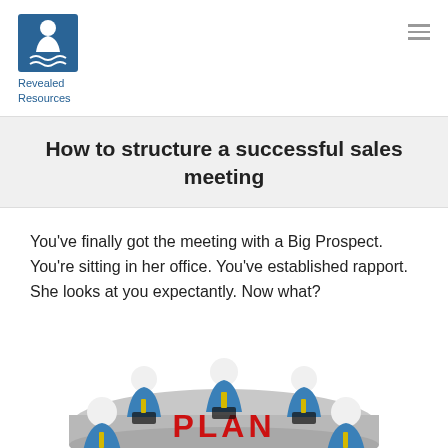[Figure (logo): Revealed Resources logo: blue square icon with stylized figure and waves, with text 'Revealed Resources' below in blue]
How to structure a successful sales meeting
You’ve finally got the meeting with a Big Prospect. You’re sitting in her office. You’ve established rapport. She looks at you expectantly. Now what?
[Figure (illustration): 3D cartoon figures of people in business attire sitting around a conference table with the word PLAN written in large red letters on the table surface]